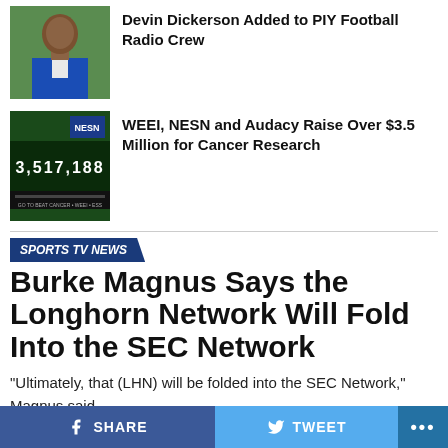[Figure (photo): Man in blue suit, photo thumbnail for news item]
Devin Dickerson Added to PIY Football Radio Crew
[Figure (photo): Scoreboard showing 3,517,188 fundraising total]
WEEI, NESN and Audacy Raise Over $3.5 Million for Cancer Research
SPORTS TV NEWS
Burke Magnus Says the Longhorn Network Will Fold Into the SEC Network
“Ultimately, that (LHN) will be folded into the SEC Network,” Magnus said.